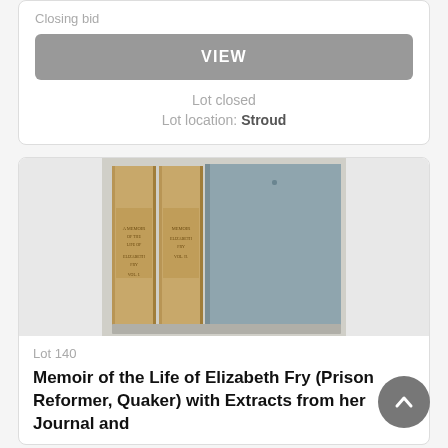Closing bid
VIEW
Lot closed
Lot location: Stroud
[Figure (photo): Two antique books shown standing upright — two smaller leather-bound volumes with gilt spines on the left, and one larger blue-grey cloth-bound volume on the right.]
Lot 140
Memoir of the Life of Elizabeth Fry (Prison Reformer, Quaker) with Extracts from her Journal and